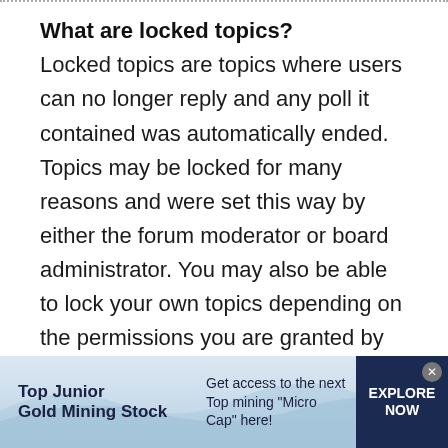What are locked topics?
Locked topics are topics where users can no longer reply and any poll it contained was automatically ended. Topics may be locked for many reasons and were set this way by either the forum moderator or board administrator. You may also be able to lock your own topics depending on the permissions you are granted by the board administrator.
[Figure (infographic): Advertisement banner for Top Junior Gold Mining Stock. Text: 'Top Junior Gold Mining Stock' on the left, 'Get access to the next Top mining "Micro Cap" here!' in the center, and 'EXPLORE NOW' button on the right. Light blue gradient background with wave design.]